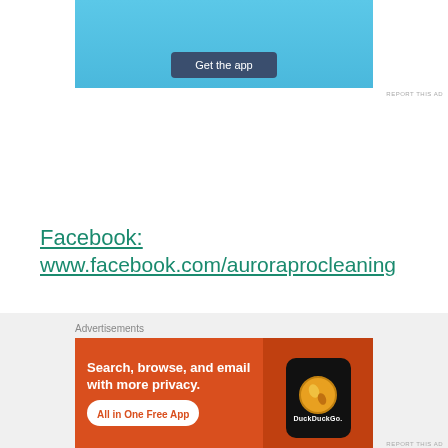[Figure (screenshot): Top advertisement banner with blue background showing 'Get the app' button]
REPORT THIS AD
Facebook:
www.facebook.com/auroraprocleaning
Instagram:
www.instagram.com/aurora_pro_cleanin
[Figure (screenshot): DuckDuckGo advertisement: Search, browse, and email with more privacy. All in One Free App]
REPORT THIS AD